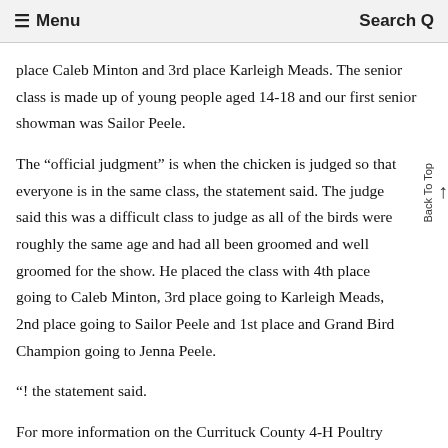≡ Menu   Search Q
place Caleb Minton and 3rd place Karleigh Meads. The senior class is made up of young people aged 14-18 and our first senior showman was Sailor Peele.
The “official judgment” is when the chicken is judged so that everyone is in the same class, the statement said. The judge said this was a difficult class to judge as all of the birds were roughly the same age and had all been groomed and well groomed for the show. He placed the class with 4th place going to Caleb Minton, 3rd place going to Karleigh Meads, 2nd place going to Sailor Peele and 1st place and Grand Bird Champion going to Jenna Peele.
“! the statement said.
For more information on the Currituck County 4-H Poultry